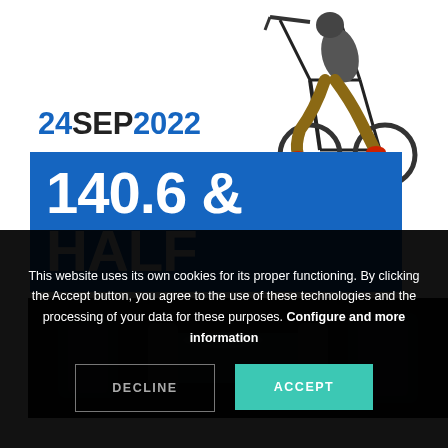[Figure (photo): Person on a bicycle viewed from behind, legs and bike frame visible against white background]
24SEP2022
140.6 & HALF
[Figure (photo): Close-up of gym weights/dumbbells on dark background]
This website uses its own cookies for its proper functioning. By clicking the Accept button, you agree to the use of these technologies and the processing of your data for these purposes. Configure and more information